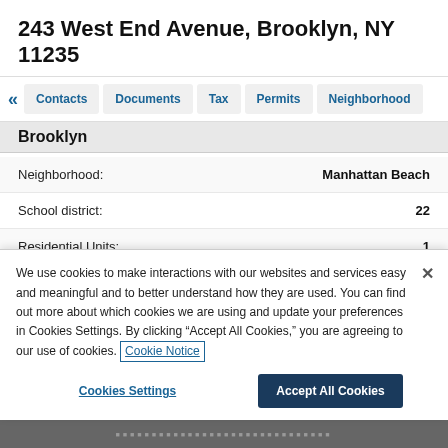243 West End Avenue, Brooklyn, NY 11235
Contacts | Documents | Tax | Permits | Neighborhood
Brooklyn
| Field | Value |
| --- | --- |
| Neighborhood: | Manhattan Beach |
| School district: | 22 |
| Residential Units: | 1 |
| Maximum floor area ratio: | (locked) |
We use cookies to make interactions with our websites and services easy and meaningful and to better understand how they are used. You can find out more about which cookies we are using and update your preferences in Cookies Settings. By clicking "Accept All Cookies," you are agreeing to our use of cookies. Cookie Notice
Cookies Settings | Accept All Cookies